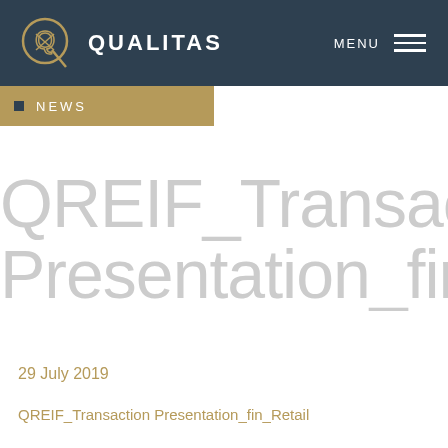QUALITAS — MENU
NEWS
QREIF_Transaction Presentation_fin_Ret
29 July 2019
QREIF_Transaction Presentation_fin_Retail